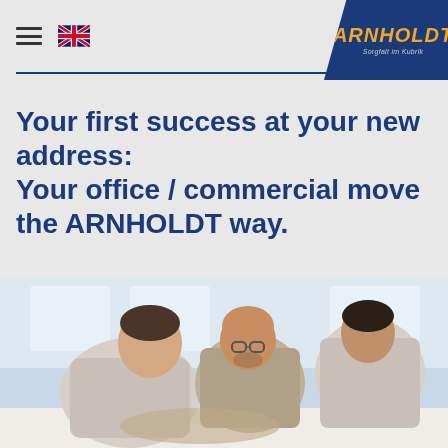ARNHOLDT — Sorgfalt im Kubrik
Your first success at your new address:
Your office / commercial move the ARNHOLDT way.
[Figure (photo): Three men leaning over a surface in a bright office space, appearing to be working on plans or assembly. Two men are wearing grey/white shirts and one in the middle wears a khaki shirt with glasses. The setting is an airy room with large windows in the background.]